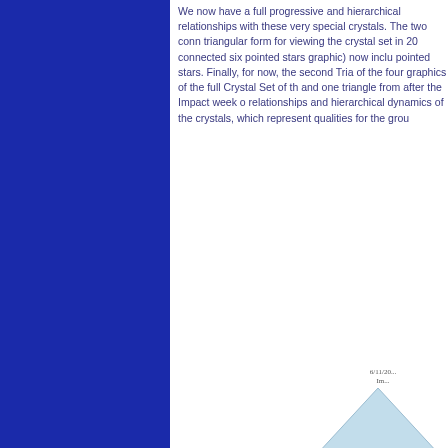[Figure (illustration): Solid dark blue vertical sidebar/column on the left side of the page]
We now have a full progressive and hierarchical relationships with these very special crystals. The two connected triangular form for viewing the crystal set in 20... connected six pointed stars graphic) now includes pointed stars. Finally, for now, the second Tria of the four graphics of the full Crystal Set of th and one triangle from after the Impact week o relationships and hierarchical dynamics of the crystals, which represent qualities for the grou
[Figure (illustration): Small triangle graphic in lower right corner with a tiny label above it]